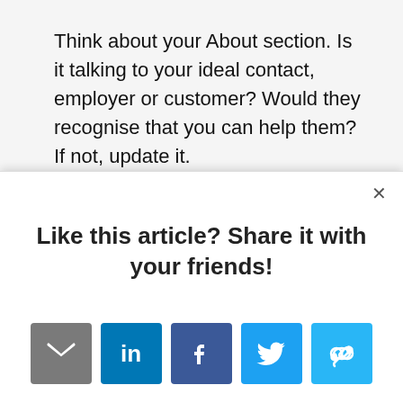Think about your About section. Is it talking to your ideal contact, employer or customer? Would they recognise that you can help them? If not, update it.
Finally post, comment and like, help people,
Like this article? Share it with your friends!
[Figure (infographic): Social sharing buttons: email (grey), LinkedIn (blue), Facebook (dark blue), Twitter (light blue), link/share (light blue)]